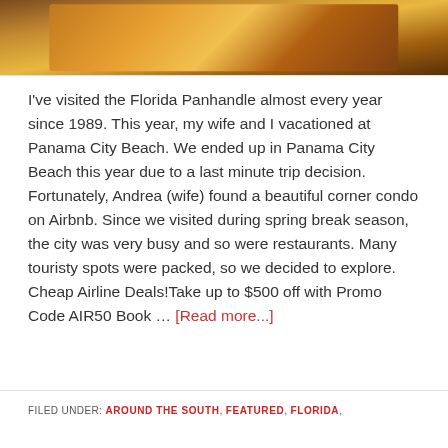[Figure (photo): A warm amber/golden-toned photo, possibly of a sunset or candle/lamp, with dark vignetting at edges]
I've visited the Florida Panhandle almost every year since 1989. This year, my wife and I vacationed at Panama City Beach. We ended up in Panama City Beach this year due to a last minute trip decision. Fortunately, Andrea (wife) found a beautiful corner condo on Airbnb. Since we visited during spring break season, the city was very busy and so were restaurants. Many touristy spots were packed, so we decided to explore. Cheap Airline Deals!Take up to $500 off with Promo Code AIR50 Book … [Read more...]
FILED UNDER: AROUND THE SOUTH, FEATURED, FLORIDA,